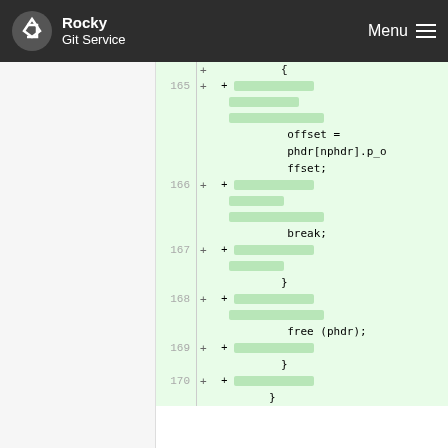Rocky Git Service   Menu
[Figure (screenshot): Code diff view showing lines 165-170 with green highlighted additions. Lines show C code: offset = phdr[nphdr].p_offset; break; } free (phdr); } with redacted/blurred portions on each line.]